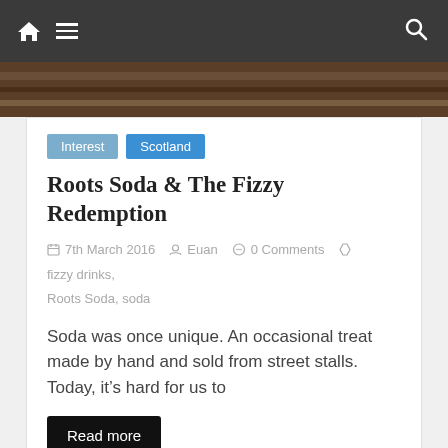Navigation bar with home, menu, and search icons
[Figure (photo): Dark wood background image strip at top]
Interest
Scotland
Roots Soda & The Fizzy Redemption
7th March 2016  Euan  0 Comments  fizzy drinks, Roots Soda, soda
Soda was once unique. An occasional treat made by hand and sold from street stalls. Today, it's hard for us to
Read more
[Figure (photo): Close-up photo of tattooed hands working with food or craft item on a dark surface]